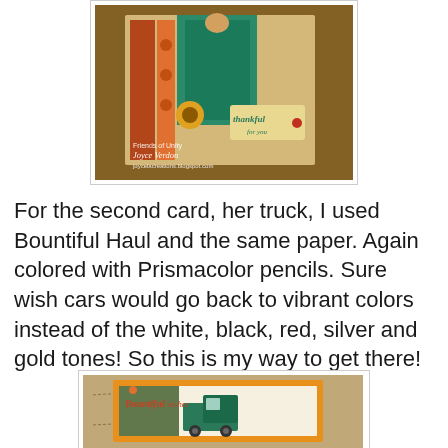[Figure (photo): Handmade greeting card with 'thankful for you' text, featuring teal jacket figure, sunflower, decorative patterned papers in orange/teal/red tones, on brown background. Text overlay: 'Friends of Unity Joyce Verdon joycelacreations.blogspot.com']
For the second card, her truck, I used Bountiful Haul and the same paper. Again colored with Prismacolor pencils. Sure wish cars would go back to vibrant colors instead of the white, black, red, silver and gold tones! So this is my way to get there!
[Figure (photo): Handmade greeting card featuring a teal vintage truck with 'Bountiful Wishes' text, orange border, colorful patterned papers, on khaki/tan fabric background with stitching detail.]